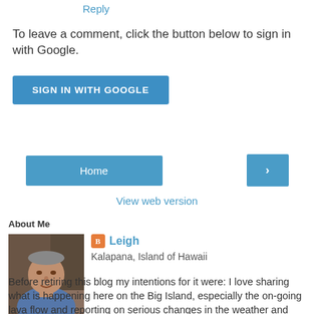Reply
To leave a comment, click the button below to sign in with Google.
[Figure (other): Blue 'SIGN IN WITH GOOGLE' button]
[Figure (other): Navigation buttons: 'Home' (blue button, center) and '>' (blue arrow button, right)]
View web version
About Me
[Figure (photo): Profile photo of man in blue shirt]
Leigh
Kalapana, Island of Hawaii
Before retiring this blog my intentions for it were: I love sharing what is happening here on the Big Island, especially the on-going lava flow and reporting on serious changes in the weather and surf conditions. When I am on-the-ball I offer daily reports (less often during stagnant or non-event times) of these and other Big Island events. ----- If you would be